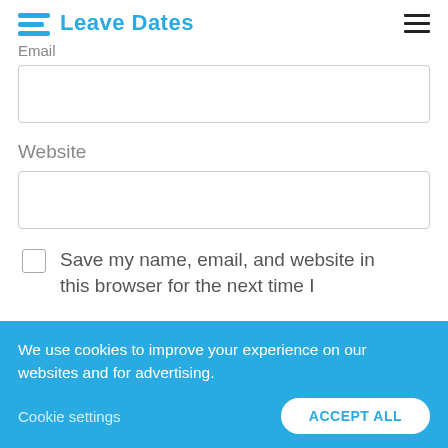Leave Dates
Email
Website
Save my name, email, and website in this browser for the next time I
We use cookies to improve your experience on our websites and for advertising.
Cookie settings
ACCEPT ALL